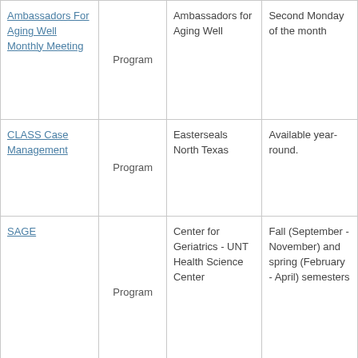| Ambassadors For Aging Well Monthly Meeting | Program | Ambassadors for Aging Well | Second Monday of the month |
| CLASS Case Management | Program | Easterseals North Texas | Available year-round. |
| SAGE | Program | Center for Geriatrics - UNT Health Science Center | Fall (September - November) and spring (February - April) semesters |
|  |  | Catholic | Monday - |